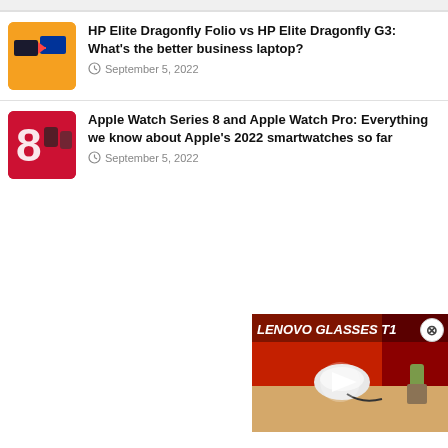[Figure (screenshot): Partial top article thumbnail, cropped at top]
HP Elite Dragonfly Folio vs HP Elite Dragonfly G3: What's the better business laptop? September 5, 2022
Apple Watch Series 8 and Apple Watch Pro: Everything we know about Apple's 2022 smartwatches so far September 5, 2022
[Figure (screenshot): Video overlay thumbnail showing Lenovo Glasses T1 with play button, red background, close button]